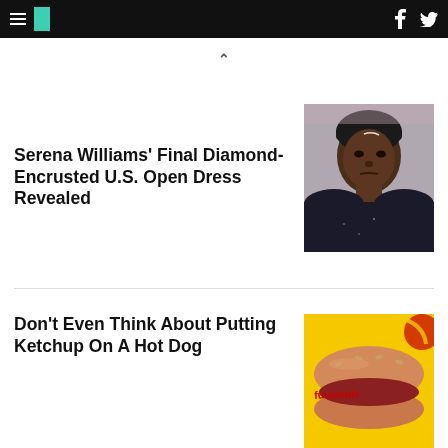HuffPost navigation with hamburger menu, logo, Facebook and Twitter icons
Serena Williams' Final Diamond-Encrusted U.S. Open Dress Revealed
[Figure (photo): Photo of Serena Williams looking upward, wearing a black Nike headband and dark outfit]
Don't Even Think About Putting Ketchup On A Hot Dog
[Figure (photo): Photo of a hot dog with red ketchup text on a yellow background]